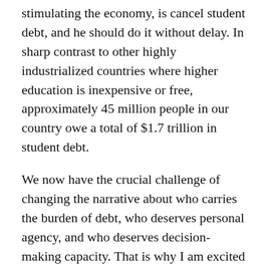stimulating the economy, is cancel student debt, and he should do it without delay. In sharp contrast to other highly industrialized countries where higher education is inexpensive or free, approximately 45 million people in our country owe a total of $1.7 trillion in student debt.
We now have the crucial challenge of changing the narrative about who carries the burden of debt, who deserves personal agency, and who deserves decision-making capacity. That is why I am excited to continue to participate in vital coalition work as a member of the RootsAction team. (For more information on our #withoutstudentdebt campaign, visit withoutstudentdebt.us.)
The hardships imposed on working people have become even more harsh and inhumane in recent years, while vast wealth has been funneled into the pockets of a